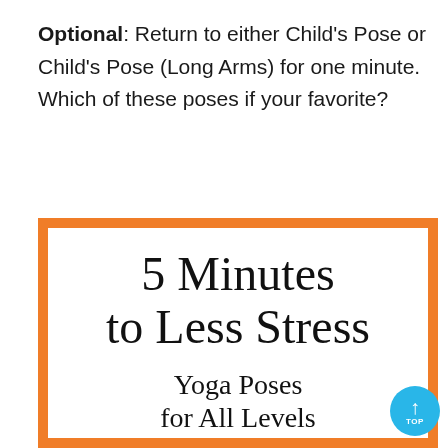Optional: Return to either Child's Pose or Child's Pose (Long Arms) for one minute. Which of these poses if your favorite?
[Figure (illustration): Book cover with orange border and white background showing handwritten-style text: '5 Minutes to Less Stress' in large font and 'Yoga Poses for All Levels' below in smaller font]